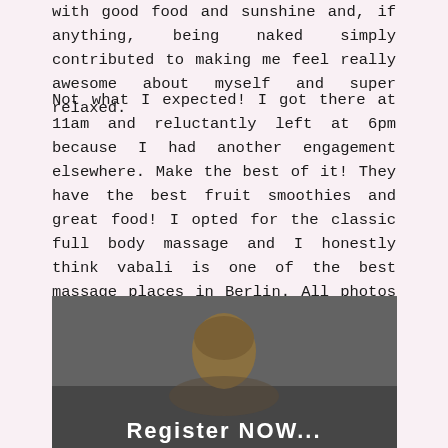with good food and sunshine and, if anything, being naked simply contributed to making me feel really awesome about myself and super relaxed.
Not what I expected! I got there at 11am and reluctantly left at 6pm because I had another engagement elsewhere. Make the best of it! They have the best fruit smoothies and great food! I opted for the classic full body massage and I honestly think vabali is one of the best massage places in Berlin. All photos courtesy of vabali Spa Berlin. Many thanks for hosting me!
[Figure (photo): A person with blonde/brown hair seen from behind, with a banner or text reading 'Register NOW' at the bottom of the image, set against a dark grey background.]